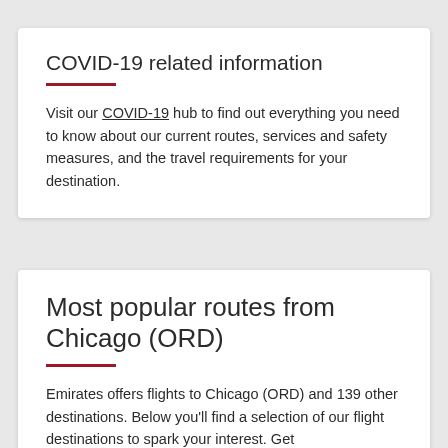COVID-19 related information
Visit our COVID-19 hub to find out everything you need to know about our current routes, services and safety measures, and the travel requirements for your destination.
Most popular routes from Chicago (ORD)
Emirates offers flights to Chicago (ORD) and 139 other destinations. Below you'll find a selection of our flight destinations to spark your interest. Get